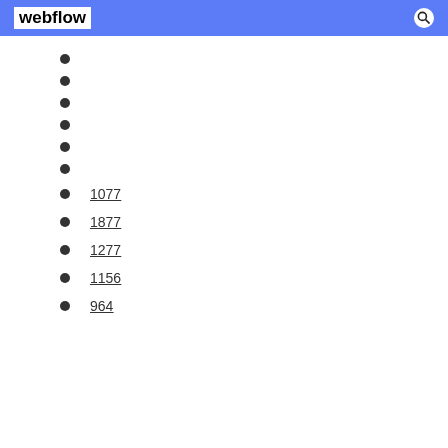webflow
1077
1877
1277
1156
964